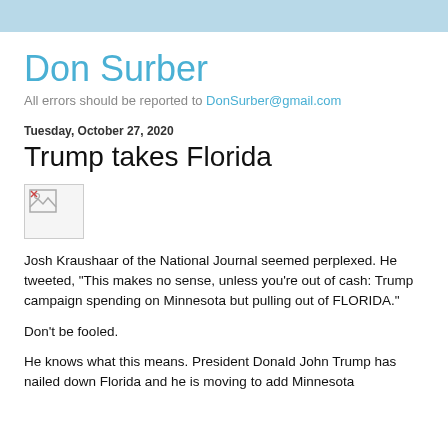Don Surber
All errors should be reported to DonSurber@gmail.com
Tuesday, October 27, 2020
Trump takes Florida
[Figure (photo): Broken/missing image placeholder]
Josh Kraushaar of the National Journal seemed perplexed. He tweeted, "This makes no sense, unless you're out of cash: Trump campaign spending on Minnesota but pulling out of FLORIDA."
Don't be fooled.
He knows what this means. President Donald John Trump has nailed down Florida and he is moving to add Minnesota and he likes of course. The question is this will we get to